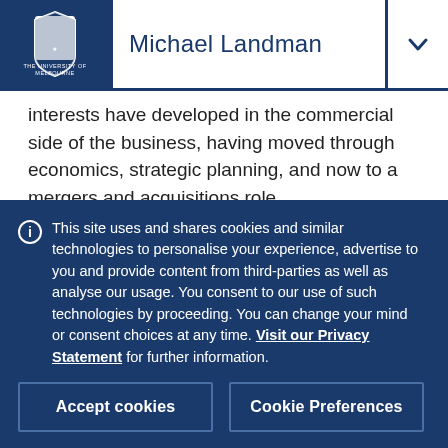Michael Landman
interests have developed in the commercial side of the business, having moved through economics, strategic planning, and now to a mergers and acquisitions role.
In my current position I still find myself wading through spreadsheets and building models for businesses. I certainly haven't used calculus for a few years, but my maths
This site uses and shares cookies and similar technologies to personalise your experience, advertise to you and provide content from third-parties as well as analyse our usage. You consent to our use of such technologies by proceeding. You can change your mind or consent choices at any time. Visit our Privacy Statement for further information.
Accept cookies
Cookie Preferences